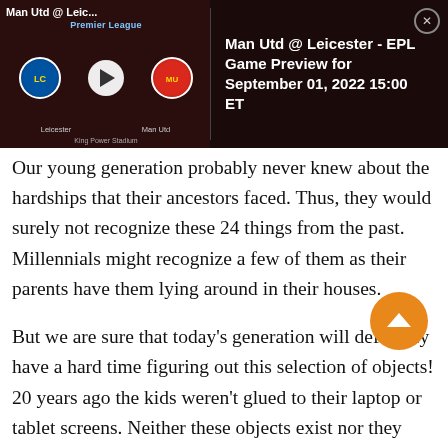[Figure (screenshot): A dark-themed sports preview banner showing a Premier League match: Man Utd @ Leicester. Left side shows a video thumbnail with Leicester and Man Utd badges flanking a play button, 'Premier League' subtitle, team labels, and 'King Power Stadium'. Right side shows title text: 'Man Utd @ Leicester - EPL Game Preview for September 01, 2022 15:00 ET' with a close (X) button.]
Our young generation probably never knew about the hardships that their ancestors faced. Thus, they would surely not recognize these 24 things from the past. Millennials might recognize a few of them as their parents have them lying around in their houses.

But we are sure that today's generation will definitely have a hard time figuring out this selection of objects! 20 years ago the kids weren't glued to their laptop or tablet screens. Neither these objects exist nor they were affordable at the...